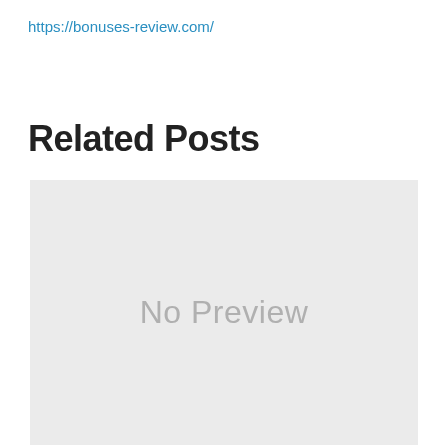https://bonuses-review.com/
Related Posts
[Figure (other): A light grey placeholder box displaying the text 'No Preview' in large grey letters, indicating no image preview is available for the related post.]